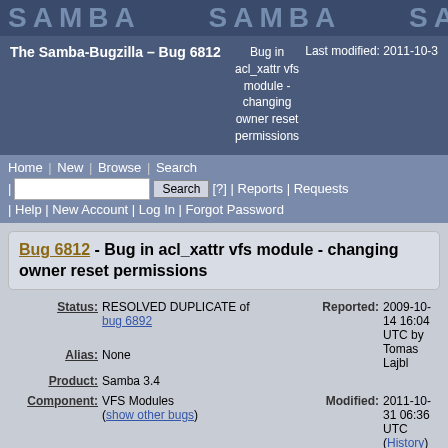SAMBA SAMBA SAM
The Samba-Bugzilla – Bug 6812 | Bug in acl_xattr vfs module - changing owner reset permissions | Last modified: 2011-10-3
Home | New | Browse | Search | Search [?] | Reports | Requests | Help | New Account | Log In | Forgot Password
Bug 6812 - Bug in acl_xattr vfs module - changing owner reset permissions
| Field | Value |
| --- | --- |
| Status: | RESOLVED DUPLICATE of bug 6892 |
| Alias: | None |
| Product: | Samba 3.4 |
| Component: | VFS Modules (show other bugs) |
| Reported: | 2009-10-14 16:04 UTC by Tomas Lajbl |
| Modified: | 2011-10-31 06:36 UTC (History) |
| CC List: | 1 user (show) |
| See Also: |  |